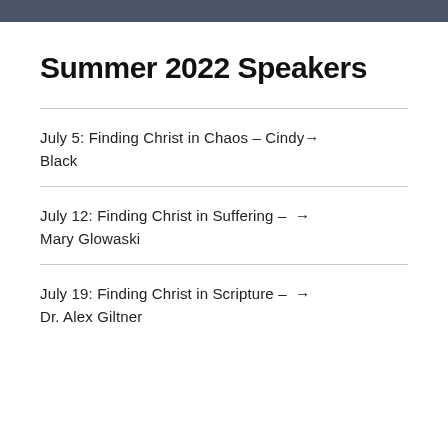Summer 2022 Speakers
July 5: Finding Christ in Chaos – Cindy Black →
July 12: Finding Christ in Suffering – Mary Glowaski →
July 19: Finding Christ in Scripture – Dr. Alex Giltner →